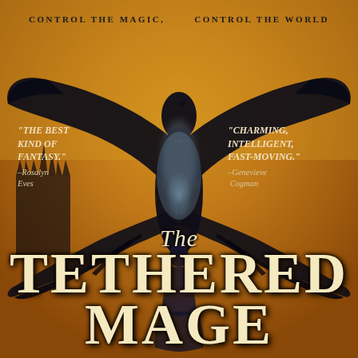[Figure (illustration): Book cover of 'The Tethered Mage' showing a woman in dark clothing standing before a large bird (crow/raven) with wings spread wide, silhouetted against a golden-orange background with dark castle spires. The bird's dark wings dominate the composition.]
CONTROL THE MAGIC,     CONTROL THE WORLD
"THE BEST KIND OF FANTASY." —Rosalyn Eves
"CHARMING, INTELLIGENT, FAST-MOVING." —Genevieve Cogman
The TETHERED MAGE